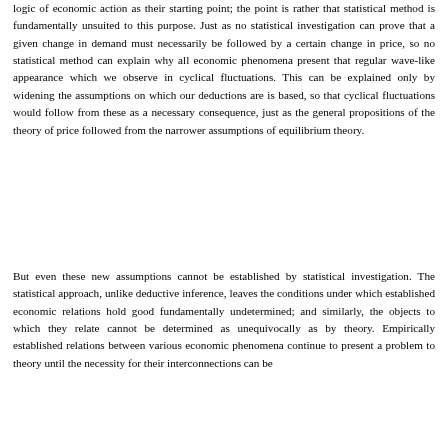logic of economic action as their starting point; the point is rather that statistical method is fundamentally unsuited to this purpose. Just as no statistical investigation can prove that a given change in demand must necessarily be followed by a certain change in price, so no statistical method can explain why all economic phenomena present that regular wave-like appearance which we observe in cyclical fluctuations. This can be explained only by widening the assumptions on which our deductions are is based, so that cyclical fluctuations would follow from these as a necessary consequence, just as the general propositions of the theory of price followed from the narrower assumptions of equilibrium theory.
But even these new assumptions cannot be established by statistical investigation. The statistical approach, unlike deductive inference, leaves the conditions under which established economic relations hold good fundamentally undetermined; and similarly, the objects to which they relate cannot be determined as unequivocally as by theory. Empirically established relations between various economic phenomena continue to present a problem to theory until the necessity for their interconnections can be